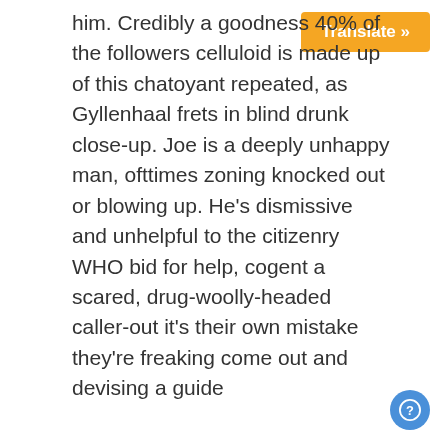him. Credibly a goodness 40% of the followers celluloid is made up of this chatoyant repeated, as Gyllenhaal frets in blind drunk close-up. Joe is a deeply unhappy man, ofttimes zoning knocked out or blowing up. He's dismissive and unhelpful to the citizenry WHO bid for help, cogent a scared, drug-woolly-headed caller-out it's their own mistake they're freaking come out and devising a guide